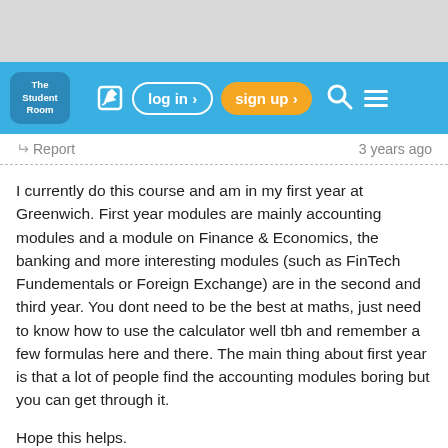[Figure (screenshot): The Student Room website navigation bar with logo, login, sign up, search and menu icons on a light blue background]
Report    3 years ago
I currently do this course and am in my first year at Greenwich. First year modules are mainly accounting modules and a module on Finance & Economics, the banking and more interesting modules (such as FinTech Fundementals or Foreign Exchange) are in the second and third year. You dont need to be the best at maths, just need to know how to use the calculator well tbh and remember a few formulas here and there. The main thing about first year is that a lot of people find the accounting modules boring but you can get through it.
Hope this helps.
(Original post by iiDeedo)